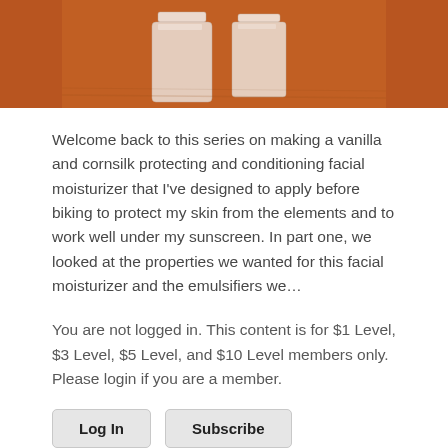[Figure (photo): Photo of skincare/moisturizer bottles on a wooden surface, cropped at top of page]
Welcome back to this series on making a vanilla and cornsilk protecting and conditioning facial moisturizer that I've designed to apply before biking to protect my skin from the elements and to work well under my sunscreen. In part one, we looked at the properties we wanted for this facial moisturizer and the emulsifiers we…
You are not logged in. This content is for $1 Level, $3 Level, $5 Level, and $10 Level members only. Please login if you are a member.
Log In
Subscribe